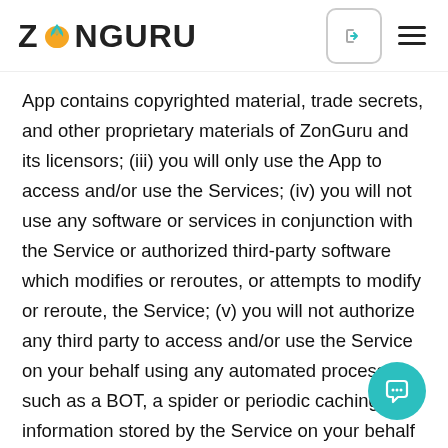ZonGuru
App contains copyrighted material, trade secrets, and other proprietary materials of ZonGuru and its licensors; (iii) you will only use the App to access and/or use the Services; (iv) you will not use any software or services in conjunction with the Service or authorized third-party software which modifies or reroutes, or attempts to modify or reroute, the Service; (v) you will not authorize any third party to access and/or use the Service on your behalf using any automated process such as a BOT, a spider or periodic caching of information stored by the Service on your behalf without a separate written agreement with us; (vi) you will not use any software or hardware that reduces the number of Users directly accessing or using the Service (sometimes called 'multiplexing' or 'pooling' software or hardware); (vii) you will not lend, lease, rent or sublicense the App; (viii) you will permit us to send and deliver updates and